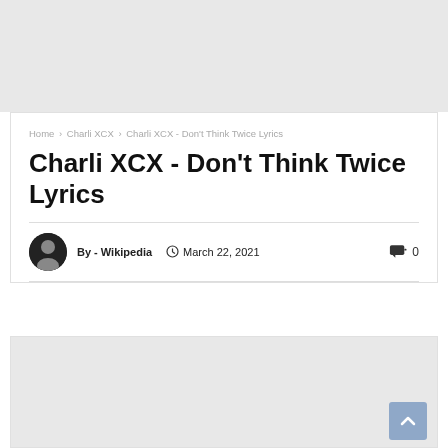[Figure (other): Gray advertisement banner at top of page]
Home > Charli XCX > Charli XCX - Don't Think Twice Lyrics
Charli XCX - Don't Think Twice Lyrics
By - Wikipedia   March 22, 2021   0
[Figure (other): Gray advertisement banner at bottom of article content area]